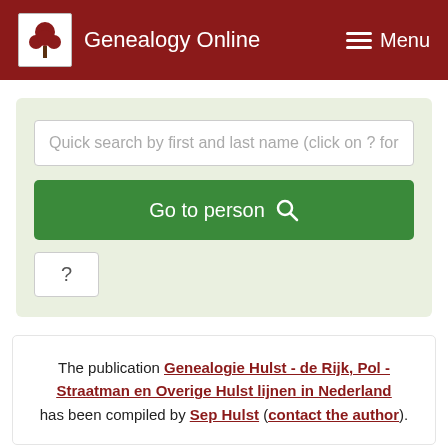Genealogy Online  Menu
[Figure (screenshot): Search panel with input field 'Quick search by first and last name (click on ? for', a green 'Go to person' button with magnifying glass icon, and a '?' help button]
The publication Genealogie Hulst - de Rijk, Pol - Straatman en Overige Hulst lijnen in Nederland has been compiled by Sep Hulst (contact the author).